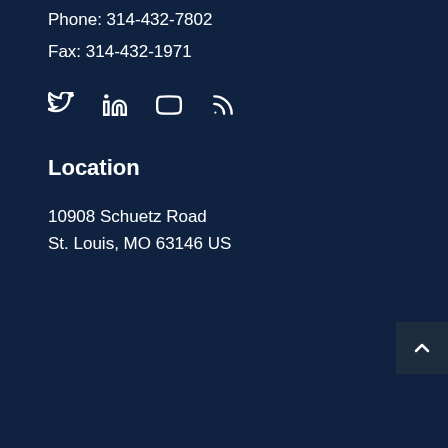Phone: 314-432-7802
Fax: 314-432-1971
[Figure (other): Social media icons: Twitter, LinkedIn, YouTube, RSS feed]
Location
10908 Schuetz Road
St. Louis, MO 63146 US